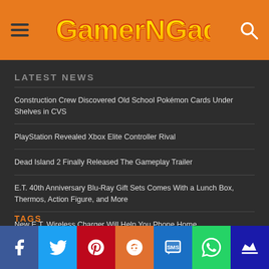GamerNGadgets
LATEST NEWS
Construction Crew Discovered Old School Pokémon Cards Under Shelves in CVS
PlayStation Revealed Xbox Elite Controller Rival
Dead Island 2 Finally Released The Gameplay Trailer
E.T. 40th Anniversary Blu-Ray Gift Sets Comes With a Lunch Box, Thermos, Action Figure, and More
New E.T. Wireless Charger Will Help You Phone Home
OOMENSIONS MYSTERY MANOR Game Is Murder Mystery With Escape Room
Social share bar: Facebook, Twitter, Pinterest, Reddit, SMS, WhatsApp, Crown